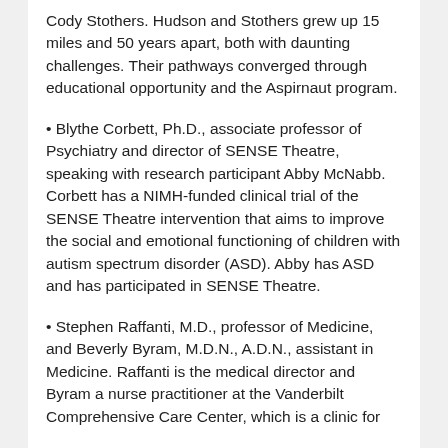Cody Stothers. Hudson and Stothers grew up 15 miles and 50 years apart, both with daunting challenges. Their pathways converged through educational opportunity and the Aspirnaut program.
• Blythe Corbett, Ph.D., associate professor of Psychiatry and director of SENSE Theatre, speaking with research participant Abby McNabb. Corbett has a NIMH-funded clinical trial of the SENSE Theatre intervention that aims to improve the social and emotional functioning of children with autism spectrum disorder (ASD). Abby has ASD and has participated in SENSE Theatre.
• Stephen Raffanti, M.D., professor of Medicine, and Beverly Byram, M.D.N., A.D.N., assistant in Medicine. Raffanti is the medical director and Byram a nurse practitioner at the Vanderbilt Comprehensive Care Center, which is a clinic for